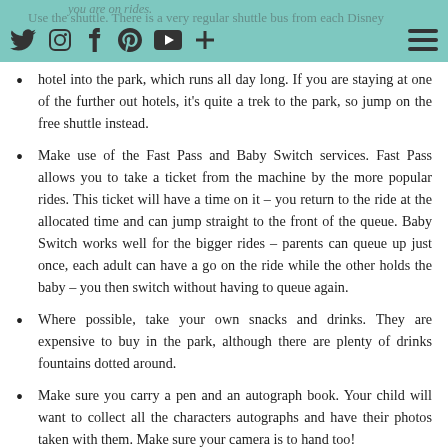Navigation bar with social media icons (Twitter, Instagram, Facebook, Pinterest, YouTube, Plus) and hamburger menu
Use the shuttle. There is a very regular shuttle bus from each Disney hotel into the park, which runs all day long. If you are staying at one of the further out hotels, it's quite a trek to the park, so jump on the free shuttle instead.
Make use of the Fast Pass and Baby Switch services. Fast Pass allows you to take a ticket from the machine by the more popular rides. This ticket will have a time on it – you return to the ride at the allocated time and can jump straight to the front of the queue. Baby Switch works well for the bigger rides – parents can queue up just once, each adult can have a go on the ride while the other holds the baby – you then switch without having to queue again.
Where possible, take your own snacks and drinks. They are expensive to buy in the park, although there are plenty of drinks fountains dotted around.
Make sure you carry a pen and an autograph book. Your child will want to collect all the characters autographs and have their photos taken with them. Make sure your camera is to hand too!
Let your child stay up late one night to enjoy the fireworks. I am a